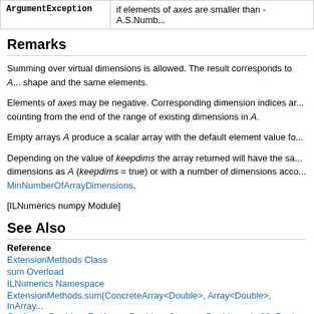| Exception | Condition |
| --- | --- |
| ArgumentException | if elements of axes are smaller than -A.S.Numb... |
Remarks
Summing over virtual dimensions is allowed. The result corresponds to A... shape and the same elements.
Elements of axes may be negative. Corresponding dimension indices ar... counting from the end of the range of existing dimensions in A.
Empty arrays A produce a scalar array with the default element value fo...
Depending on the value of keepdims the array returned will have the sa... dimensions as A (keepdims = true) or with a number of dimensions acco... MinNumberOfArrayDimensions.
[ILNumerics numpy Module]
See Also
Reference
ExtensionMethods Class
sum Overload
ILNumerics Namespace
ExtensionMethods.sum(ConcreteArray<Double>, Array<Double>, InArray... OutArray<Double>, RetArray<Double>, Storage<Double>>, Int32, Boole...
ExtensionMethods.sum(ConcreteArray<Double>, Array<Double>, InArray...